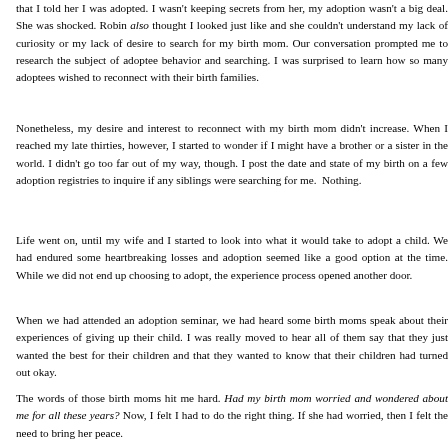that I told her I was adopted. I wasn't keeping secrets from her, my adoption wasn't a big deal. She was shocked. Robin also thought I looked just like and she couldn't understand my lack of curiosity or my lack of desire to search for my birth mom. Our conversation prompted me to research the subject of adoptee behavior and searching. I was surprised to learn how so many adoptees wished to reconnect with their birth families.
Nonetheless, my desire and interest to reconnect with my birth mom didn't increase. When I reached my late thirties, however, I started to wonder if I might have a brother or a sister in the world. I didn't go too far out of my way, though. I post the date and state of my birth on a few adoption registries to inquire if any siblings were searching for me. Nothing.
Life went on, until my wife and I started to look into what it would take to adopt a child. We had endured some heartbreaking losses and adoption seemed like a good option at the time. While we did not end up choosing to adopt, the experience process opened another door.
When we had attended an adoption seminar, we had heard some birth moms speak about their experiences of giving up their child. I was really moved to hear all of them say that they just wanted the best for their children and that they wanted to know that their children had turned out okay.
The words of those birth moms hit me hard. Had my birth mom worried and wondered about me for all these years? Now, I felt I had to do the right thing. If she had worried, then I felt the need to bring her peace.
Boy, did things change quickly after that. In May of 2012, I began my search. I viewed many sites and registries, but all of them led to dead ends. I reached out